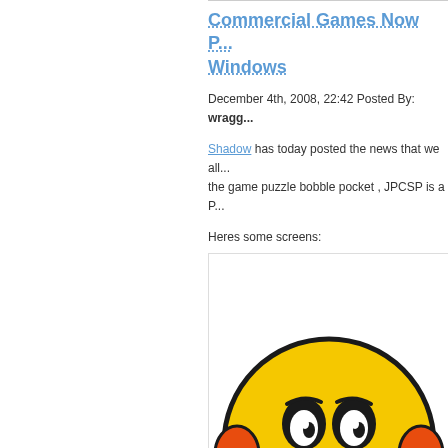Commercial Games Now P... Windows
December 4th, 2008, 22:42 Posted By: wragg...
Shadow has today posted the news that we all... the game puzzle bobble pocket , JPCSP is a P...
Heres some screens:
[Figure (illustration): A sad yellow cartoon character with red/orange ear pieces and blue feet, with a TinyPic watermark overlay indicating the image is no longer available.]
This image is no longer avai...